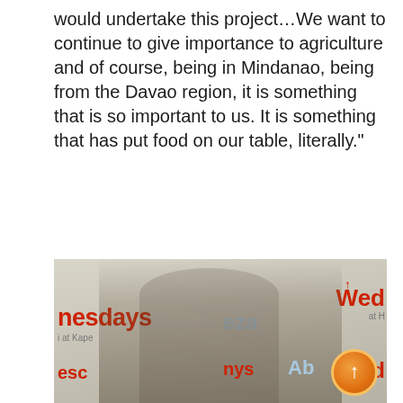would undertake this project…We want to continue to give importance to agriculture and of course, being in Mindanao, being from the Davao region, it is something that is so important to us. It is something that has put food on our table, literally."
[Figure (photo): A man in a light green/white button-up shirt speaking into a microphone at what appears to be a press event. Behind him is a step-and-repeat banner with logos and text including 'Wednesdays', 'at Kape', 'eza', 'Wed', 'eez', 'nys', 'Ab'. An orange circular up-arrow button is visible in the lower right corner.]